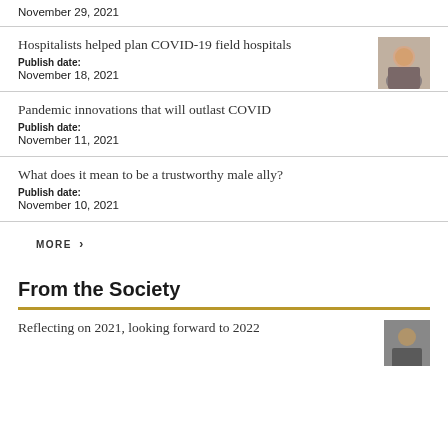November 29, 2021
Hospitalists helped plan COVID-19 field hospitals
Publish date:
November 18, 2021
Pandemic innovations that will outlast COVID
Publish date:
November 11, 2021
What does it mean to be a trustworthy male ally?
Publish date:
November 10, 2021
MORE >
From the Society
Reflecting on 2021, looking forward to 2022